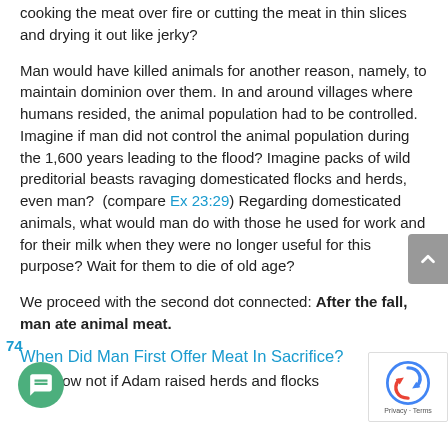cooking the meat over fire or cutting the meat in thin slices and drying it out like jerky?
Man would have killed animals for another reason, namely, to maintain dominion over them. In and around villages where humans resided, the animal population had to be controlled. Imagine if man did not control the animal population during the 1,600 years leading to the flood? Imagine packs of wild preditorial beasts ravaging domesticated flocks and herds, even man?  (compare Ex 23:29) Regarding domesticated animals, what would man do with those he used for work and for their milk when they were no longer useful for this purpose? Wait for them to die of old age?
We proceed with the second dot connected: After the fall, man ate animal meat.
When Did Man First Offer Meat In Sacrifice?
We know not if Adam raised herds and flocks